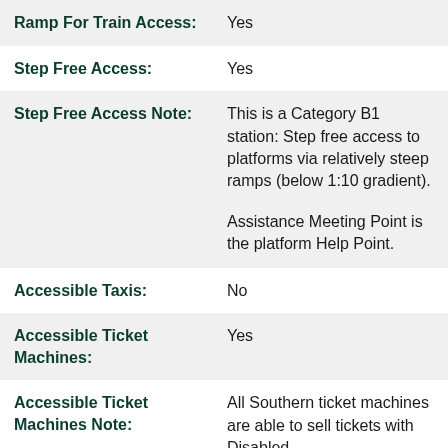| Field | Value |
| --- | --- |
| Ramp For Train Access: | Yes |
| Step Free Access: | Yes |
| Step Free Access Note: | This is a Category B1 station: Step free access to platforms via relatively steep ramps (below 1:10 gradient).

Assistance Meeting Point is the platform Help Point. |
| Accessible Taxis: | No |
| Accessible Ticket Machines: | Yes |
| Accessible Ticket Machines Note: | All Southern ticket machines are able to sell tickets with Disabled Persons Railcard... |